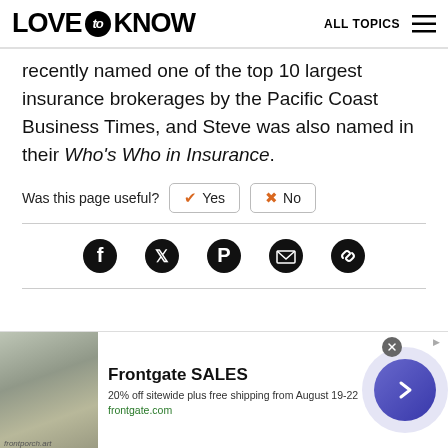LOVE to KNOW   ALL TOPICS
recently named one of the top 10 largest insurance brokerages by the Pacific Coast Business Times, and Steve was also named in their Who's Who in Insurance.
Was this page useful?  ✔ Yes  ✖ No
[Figure (infographic): Social sharing icons row: Facebook, Twitter, Pinterest, Email, Link]
[Figure (infographic): Advertisement banner: Frontgate SALES – 20% off sitewide plus free shipping from August 19-22, frontgate.com, with outdoor furniture image and purple arrow button]